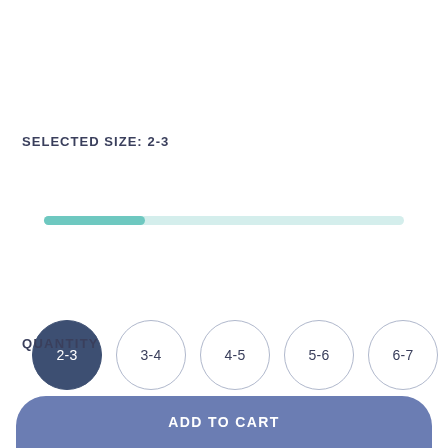[Figure (infographic): Horizontal progress bar, teal fill on light teal background]
SELECTED SIZE: 2-3
[Figure (infographic): Size selector circles: 2-3 (selected/filled dark), 3-4, 4-5, 5-6, 6-7 in first row; 7-8, 8-9, 9-10 in second row]
QUANTITY
[Figure (infographic): Quantity stepper control with minus button, value 1, plus button inside rounded pill outline]
ADD TO CART